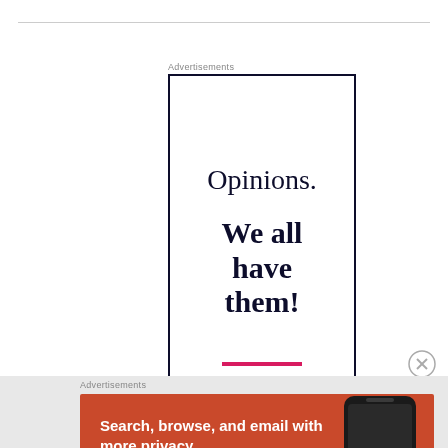[Figure (other): Advertisement banner showing 'Opinions. We all have them!' in dark navy serif text on white background with dark border, and a pink line at the bottom]
[Figure (other): DuckDuckGo advertisement banner on orange background: 'Search, browse, and email with more privacy. All in One Free App' with DuckDuckGo logo and phone graphic]